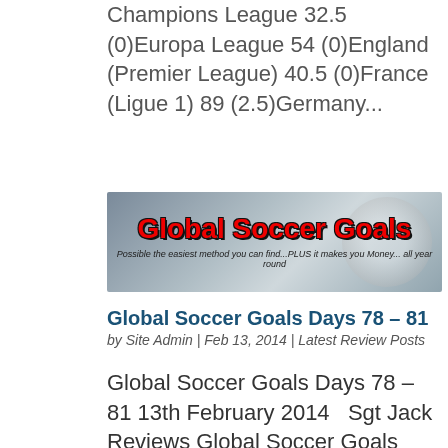Champions League 32.5 (0)Europa League 54 (0)England (Premier League) 40.5 (0)France (Ligue 1) 89 (2.5)Germany...
[Figure (illustration): Global Soccer Goals banner image with red bold text title and tagline 'Possible the easiest method you can find...PLUS it makes you Money... all year round']
Global Soccer Goals Days 78 – 81
by Site Admin | Feb 13, 2014 | Latest Review Posts
Global Soccer Goals Days 78 – 81 13th February 2014   Sgt Jack Reviews Global Soccer Goals Sunday Premier League LOST -5ptsLiga ZON Sagres LOST -5ptsLiga ZON Sagres WON +2.5pts Champions League